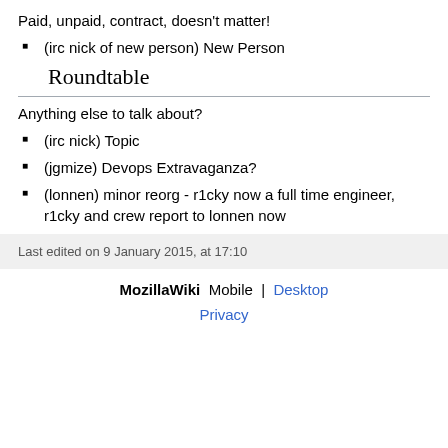Paid, unpaid, contract, doesn't matter!
(irc nick of new person) New Person
Roundtable
Anything else to talk about?
(irc nick) Topic
(jgmize) Devops Extravaganza?
(lonnen) minor reorg - r1cky now a full time engineer, r1cky and crew report to lonnen now
Last edited on 9 January 2015, at 17:10
MozillaWiki  Mobile  |  Desktop
Privacy